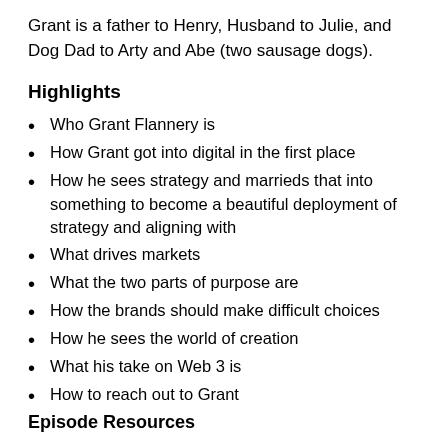Grant is a father to Henry, Husband to Julie, and Dog Dad to Arty and Abe (two sausage dogs).
Highlights
Who Grant Flannery is
How Grant got into digital in the first place
How he sees strategy and marrieds that into something to become a beautiful deployment of strategy and aligning with
What drives markets
What the two parts of purpose are
How the brands should make difficult choices
How he sees the world of creation
What his take on Web 3 is
How to reach out to Grant
Episode Resources